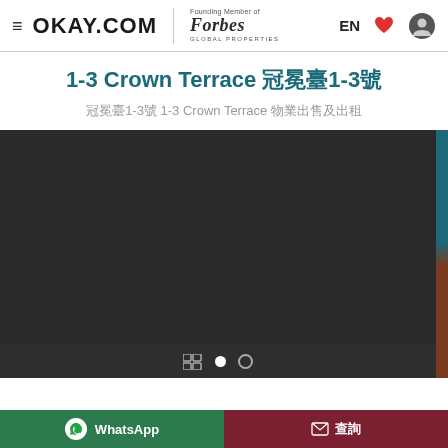OKAY.COM | Forbes Global Properties — EN
1-3 Crown Terrace 冠冕臺1-3號
冠冕臺1-3號 1-3 Crown Terrace 物業出售及出租
[Figure (photo): Dark/night property photo with side color strip (teal and brown)]
WhatsApp
查詢